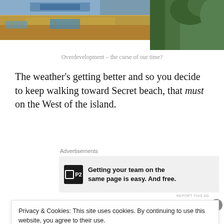[Figure (photo): Construction site showing sandy excavated earth with blue tarps/materials and lush green vegetation/trees in the background]
Overdevelopment – the curse of our time?
The weather's getting better and so you decide to keep walking toward Secret beach, that must on the West of the island.
Advertisements
[Figure (other): Advertisement for P2 app: logo with P2 text, bold headline: Getting your team on the same page is easy. And free.]
REPORT THIS AD
Privacy & Cookies: This site uses cookies. By continuing to use this website, you agree to their use.
To find out more, including how to control cookies, see here: Cookie Policy
Close and accept